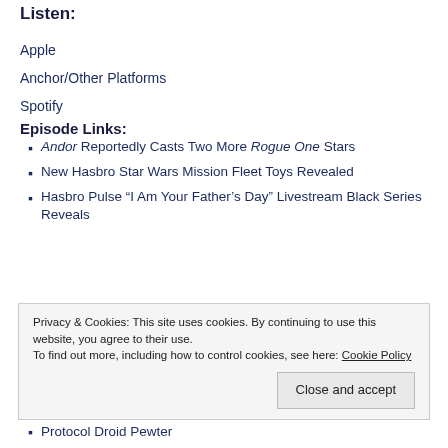Listen:
Apple
Anchor/Other Platforms
Spotify
Episode Links:
Andor Reportedly Casts Two More Rogue One Stars
New Hasbro Star Wars Mission Fleet Toys Revealed
Hasbro Pulse “I Am Your Father’s Day” Livestream Black Series Reveals
Privacy & Cookies: This site uses cookies. By continuing to use this website, you agree to their use. To find out more, including how to control cookies, see here: Cookie Policy
Protocol Droid Pewter